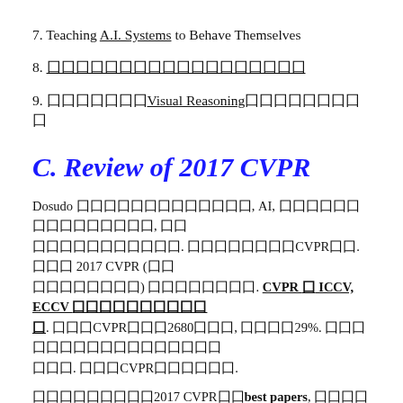7. Teaching A.I. Systems to Behave Themselves
8. [CJK characters with underline]
9. [CJK characters] Visual Reasoning [CJK characters]
C. Review of 2017 CVPR
Dosudo [CJK], AI, [CJK], [CJK]. [CJK]CVPR[CJK]. [CJK] 2017 CVPR ([CJK]) [CJK]. CVPR > ICCV, ECCV [CJK]. [CJK]CVPR[CJK]2680[CJK], [CJK]29%. [CJK]. [CJK]CVPR[CJK].
[CJK]2017 CVPR[CJK]best papers, [CJK]DenseNet, [CJK]Apple[CJK]paper, [CJK]honor papers: Polygon-RNN[CJK]